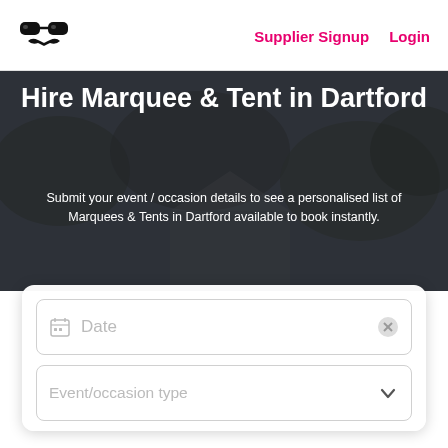Supplier Signup  Login
Hire Marquee & Tent in Dartford
Submit your event / occasion details to see a personalised list of Marquees & Tents in Dartford available to book instantly.
[Figure (screenshot): Date input field with calendar icon and clear (X) button]
[Figure (screenshot): Event/occasion type dropdown field with chevron icon]